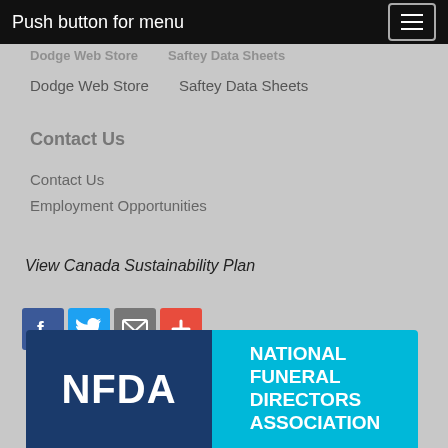Push button for menu
Dodge Web Store
Saftey Data Sheets
Dodge Web Store
Saftey Data Sheets
Contact Us
Contact Us
Employment Opportunities
View Canada Sustainability Plan
[Figure (infographic): Social sharing icons: Facebook (blue), Twitter (light blue), Email (gray), AddThis plus (red-orange)]
[Figure (logo): NFDA - National Funeral Directors Association logo: dark blue left panel with white NFDA text, cyan right panel with white NATIONAL FUNERAL DIRECTORS ASSOCIATION text]